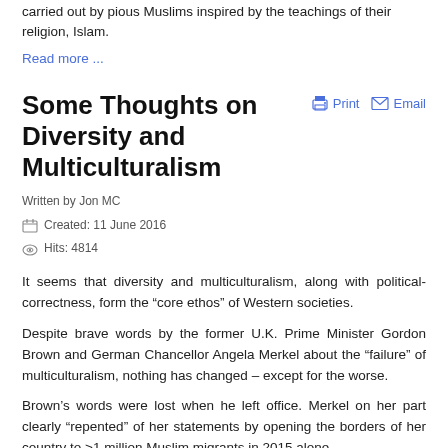carried out by pious Muslims inspired by the teachings of their religion, Islam.
Read more ...
Some Thoughts on Diversity and Multiculturalism
Written by Jon MC
Created: 11 June 2016
Hits: 4814
It seems that diversity and multiculturalism, along with political-correctness, form the “core ethos” of Western societies.
Despite brave words by the former U.K. Prime Minister Gordon Brown and German Chancellor Angela Merkel about the “failure” of multiculturalism, nothing has changed – except for the worse.
Brown’s words were lost when he left office. Merkel on her part clearly “repented” of her statements by opening the borders of her country to >1 million Muslim migrants in 2015 alone.
Francois Hollande said he was in war with Islamic terrorism after the Paris attacks, and then proceeded to ‘fight’ it with “solidarity” marches (we now know where we went wrong with Germany’s Hitler, a few marches through London would have stopped his attack on Czechoslovakia cold).